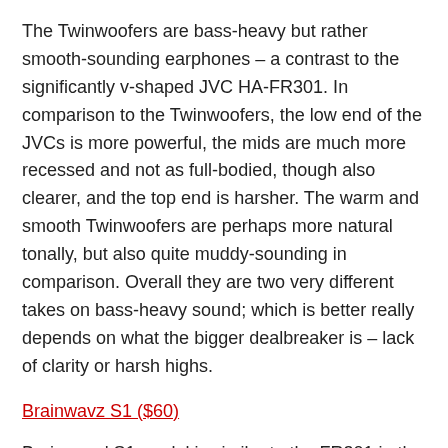The Twinwoofers are bass-heavy but rather smooth-sounding earphones – a contrast to the significantly v-shaped JVC HA-FR301. In comparison to the Twinwoofers, the low end of the JVCs is more powerful, the mids are much more recessed and not as full-bodied, though also clearer, and the top end is harsher. The warm and smooth Twinwoofers are perhaps more natural tonally, but also quite muddy-sounding in comparison. Overall they are two very different takes on bass-heavy sound; which is better really depends on what the bigger dealbreaker is – lack of clarity or harsh highs.
Brainwavz S1 ($60)
Brainwavz' S1 model is similar to the FR301 in the general sense of being v-shaped and bass-heavy, but the greater mid-bass power of the FR301 affects its overall sound quite a bit. The S1 is very capable of producing deep, powerful bass but still falls significantly short of the FR301 in sheer slam. The low end of the